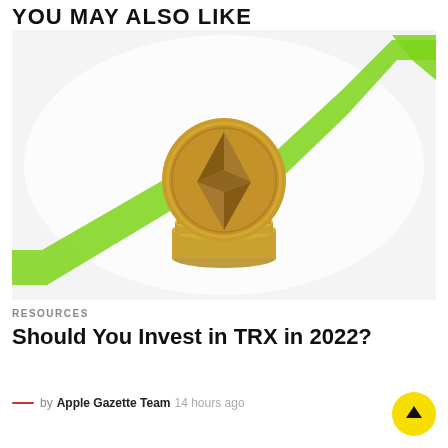YOU MAY ALSO LIKE
[Figure (photo): Gold Ethereum coin stacked on other coins with a bright green upward trending arrow in the background on a white surface.]
RESOURCES
Should You Invest in TRX in 2022?
by Apple Gazette Team  14 hours ago